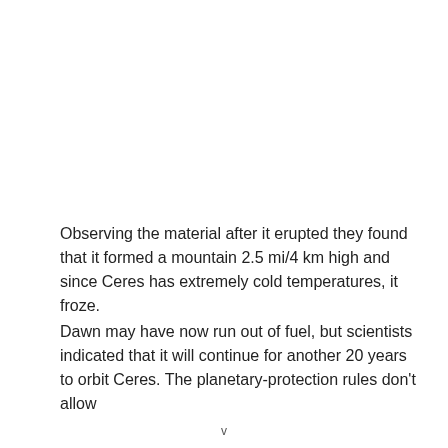Observing the material after it erupted they found that it formed a mountain 2.5 mi/4 km high and since Ceres has extremely cold temperatures, it froze.
Dawn may have now run out of fuel, but scientists indicated that it will continue for another 20 years to orbit Ceres. The planetary-protection rules don't allow
v